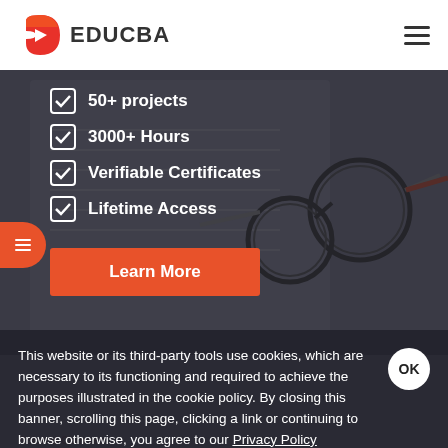[Figure (logo): EDUCBA logo with red/orange play button icon and text EDUCBA]
[Figure (photo): Hero banner with dark overlay showing a tablet/document and glasses on a desk, with checklist items and a Learn More button]
50+ projects
3000+ Hours
Verifiable Certificates
Lifetime Access
Learn More
This website or its third-party tools use cookies, which are necessary to its functioning and required to achieve the purposes illustrated in the cookie policy. By closing this banner, scrolling this page, clicking a link or continuing to browse otherwise, you agree to our Privacy Policy
Related Courses